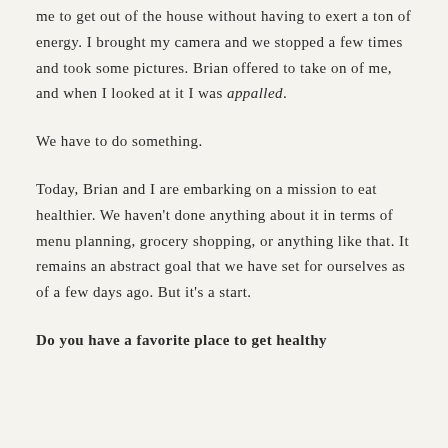me to get out of the house without having to exert a ton of energy.  I brought my camera and we stopped a few times and took some pictures.  Brian offered to take on of me, and when I looked at it I was appalled.
We have to do something.
Today, Brian and I are embarking on a mission to eat healthier.  We haven't done anything about it in terms of menu planning, grocery shopping, or anything like that.  It remains an abstract goal that we have set for ourselves as of a few days ago.  But it's a start.
Do you have a favorite place to get healthy